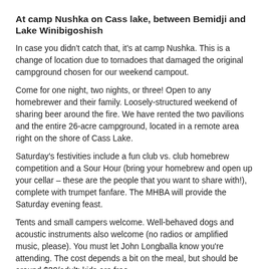At camp Nushka on Cass lake, between Bemidji and Lake Winibigoshish
In case you didn't catch that, it's at camp Nushka. This is a change of location due to tornadoes that damaged the original campground chosen for our weekend campout.
Come for one night, two nights, or three! Open to any homebrewer and their family. Loosely-structured weekend of sharing beer around the fire. We have rented the two pavilions and the entire 26-acre campground, located in a remote area right on the shore of Cass Lake.
Saturday's festivities include a fun club vs. club homebrew competition and a Sour Hour (bring your homebrew and open up your cellar – these are the people that you want to share with!), complete with trumpet fanfare. The MHBA will provide the Saturday evening feast.
Tents and small campers welcome. Well-behaved dogs and acoustic instruments also welcome (no radios or amplified music, please). You must let John Longballa know you're attending. The cost depends a bit on the meal, but should be around $30/adult; kids are free.